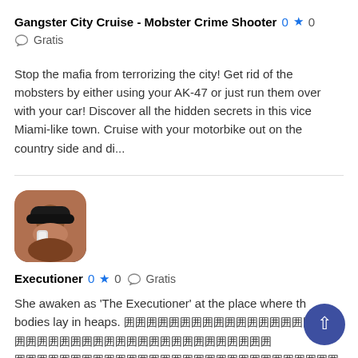Gangster City Cruise - Mobster Crime Shooter  0 ★ 0
Gratis
Stop the mafia from terrorizing the city! Get rid of the mobsters by either using your AK-47 or just run them over with your car! Discover all the hidden secrets in this vice Miami-like town. Cruise with your motorbike out on the country side and di...
[Figure (photo): Avatar image of a person wearing a black hat, partially obscuring their face, with light hair.]
Executioner  0 ★ 0 ○ Gratis
She awaken as 'The Executioner' at the place where the bodies lay in heaps. [Japanese/CJK characters]...